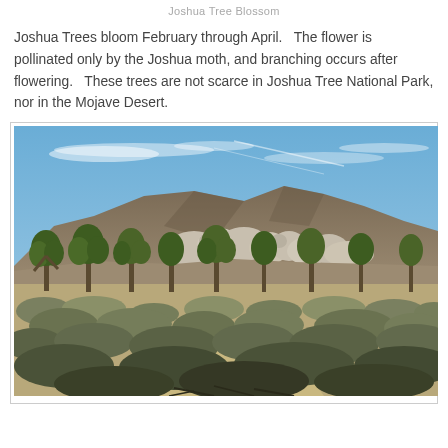Joshua Tree Blossom
Joshua Trees bloom February through April.   The flower is pollinated only by the Joshua moth, and branching occurs after flowering.   These trees are not scarce in Joshua Tree National Park, nor in the Mojave Desert.
[Figure (photo): Desert landscape with Joshua Trees, scrub brush in the foreground, large granite rock formations in the middle ground, and brown mountains under a blue sky with wispy clouds.]